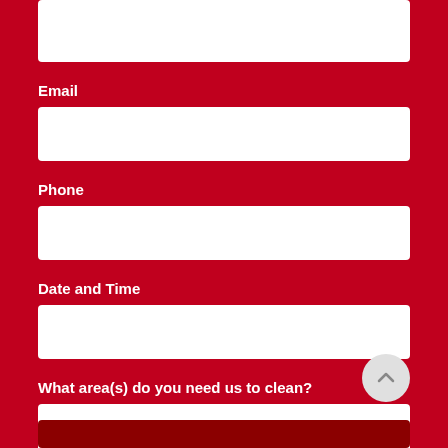Email
Phone
Date and Time
What area(s) do you need us to clean?